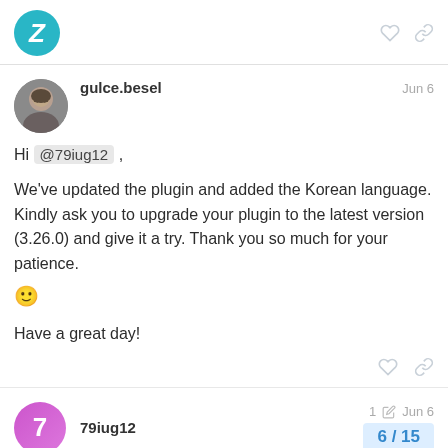[Figure (logo): Zammad teal circular logo with italic Z]
gulce.besel
Jun 6
Hi @79iug12,
We've updated the plugin and added the Korean language. Kindly ask you to upgrade your plugin to the latest version (3.26.0) and give it a try. Thank you so much for your patience. 🙂
Have a great day!
79iug12
1 Jun 6
6 / 15